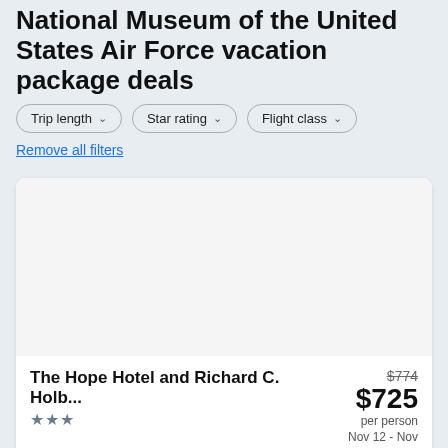National Museum of the United States Air Force vacation package deals
Trip length
Star rating
Flight class
Remove all filters
[Figure (photo): Hotel room or exterior image placeholder (white/light gray)]
The Hope Hotel and Richard C. Holb...
★★★
$774  $725 per person
Nov 12 - Nov 17
Roundtrip non-stop flight included
Dallas (DFW) to Dayton (DAY)